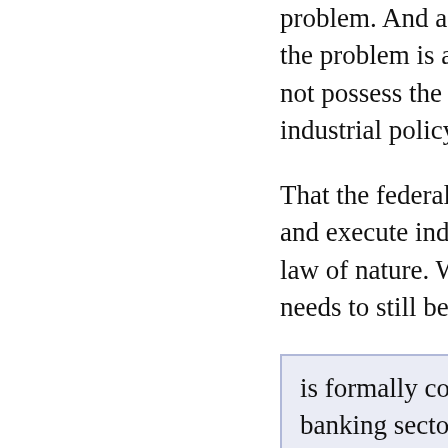Yes, a federal European industrial ... problem. And as a long-term solution the problem is a matter of no sma... not possess the depth and breath... industrial policy that the states do...
That the federal European level d... and execute industrial policy is, of... law of nature. We may change it i... needs to still be a Europe to make...
is formally correct, but can be f... banking sector, taxation of bub...
Banking regulations regulate the d... ForEx regime, trade imbalances a... rate regimes are they driven by th... prevent trade imbalances. They w... bubble, but that just means they'll...
You prevent trade imbalances with... a federal importer of last resort fu...